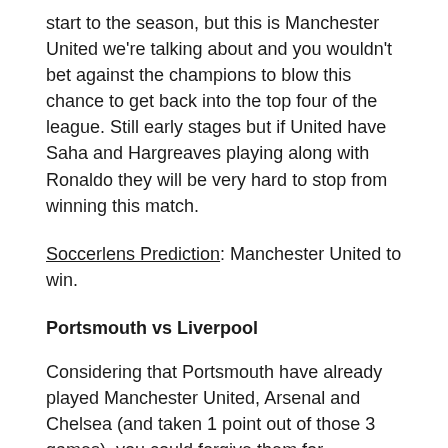start to the season, but this is Manchester United we're talking about and you wouldn't bet against the champions to blow this chance to get back into the top four of the league. Still early stages but if United have Saha and Hargreaves playing along with Ronaldo they will be very hard to stop from winning this match.
Soccerlens Prediction: Manchester United to win.
Portsmouth vs Liverpool
Considering that Portsmouth have already played Manchester United, Arsenal and Chelsea (and taken 1 point out of those 3 games), you could forgive them for languishing in 13th place with a paltry 5 points from 5 games. To be fair, Pompey have had a good season so far – they've fought hard against the top four teams and when it came to beating